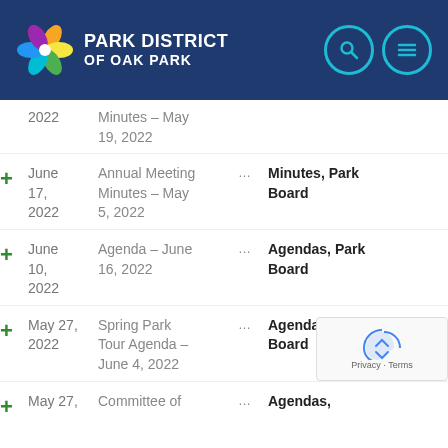[Figure (logo): Park District of Oak Park logo with colorful pinwheel and white text on dark navy header]
2022 | Minutes – May 19, 2022
+ June 17, 2022 | Annual Meeting Minutes – May 5, 2022 | ... | Minutes, Park Board
+ June 10, 2022 | Agenda – June 16, 2022 | ... | Agendas, Park Board
+ May 27, 2022 | Spring Park Tour Agenda – June 4, 2022 | ... | Agendas, Park Board
+ May 27, | Committee of ... | Agendas,